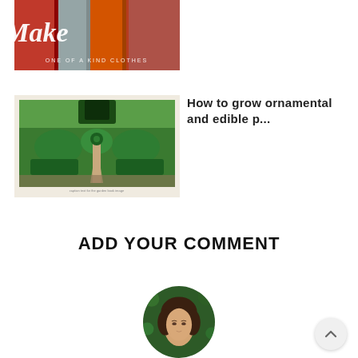[Figure (photo): Book cover or promotional image showing rolled fabric in red, grey, and other colors with cursive text 'Make' and subtitle 'ONE OF A KIND CLOTHES']
[Figure (photo): Book cover showing an ornamental formal garden with topiary hedges, pathways and lush greenery, framed in cream/beige border]
How to grow ornamental and edible p...
ADD YOUR COMMENT
[Figure (photo): Circular portrait photo of a woman with dark hair against a green leafy background, partially visible (cropped at bottom of page)]